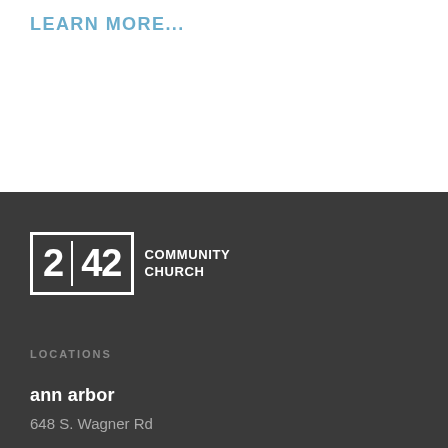LEARN MORE...
[Figure (logo): 2|42 Community Church logo: a white bordered box containing '2' a vertical divider and '42', followed by the text 'COMMUNITY CHURCH' in white on dark background]
LOCATIONS
ann arbor
648 S. Wagner Rd